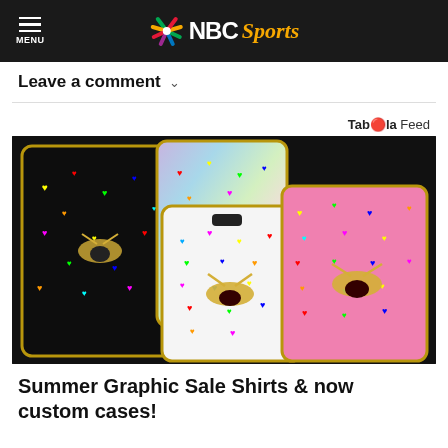NBC Sports
Leave a comment
[Figure (photo): Multiple decorative phone cases with bee ornaments and colorful heart patterns on black, holographic, white, and pink glittery backgrounds]
Summer Graphic Sale Shirts & now custom cases!